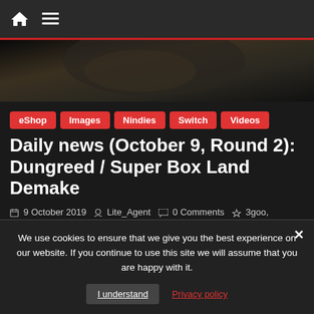Navigation bar with home icon and menu icon
[Figure (photo): Hero image — partial view of armored character, dark tones]
eShop
Images
Nindies
Switch
Videos
Daily news (October 9, Round 2): Dungreed / Super Box Land Demake
9 October 2019   Lite_Agent   0 Comments   3goo, Arcade Archives The Legend of Kage, CROSSNIQ+, Dungreed, Frozenbyte, Hamster, Level-5, lightUP, Modus Games, Nicalis, Pikii, Ratalaika Games, Romancing Saga, Square-Enix, Super Box Land Demake, Team Horay, Trine 4: The Nightmare Prince, Yo-kai Watch 1
release date for Super Box Land Demake. Arcade Archives The Legend of Ka... video for Yo-kai Watch 1. latest set of screenshots for Trine 4: The
We use cookies to ensure that we give you the best experience on our website. If you continue to use this site we will assume that you are happy with it.